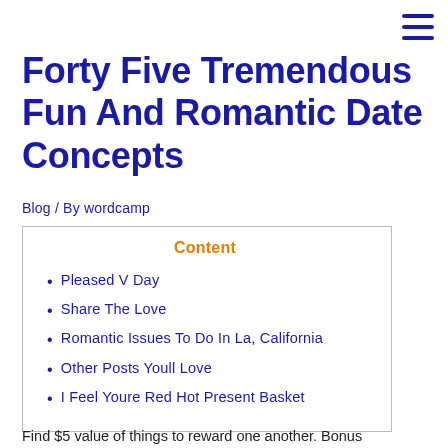Forty Five Tremendous Fun And Romantic Date Concepts
Blog / By wordcamp
Content
Pleased V Day
Share The Love
Romantic Issues To Do In La, California
Other Posts Youll Love
I Feel Youre Red Hot Present Basket
Find $5 value of things to reward one another. Bonus